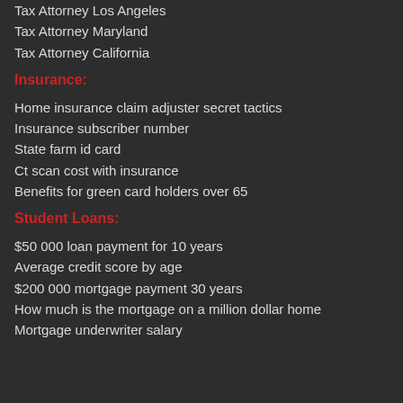Tax Attorney Los Angeles
Tax Attorney Maryland
Tax Attorney California
Insurance:
Home insurance claim adjuster secret tactics
Insurance subscriber number
State farm id card
Ct scan cost with insurance
Benefits for green card holders over 65
Student Loans:
$50 000 loan payment for 10 years
Average credit score by age
$200 000 mortgage payment 30 years
How much is the mortgage on a million dollar home
Mortgage underwriter salary